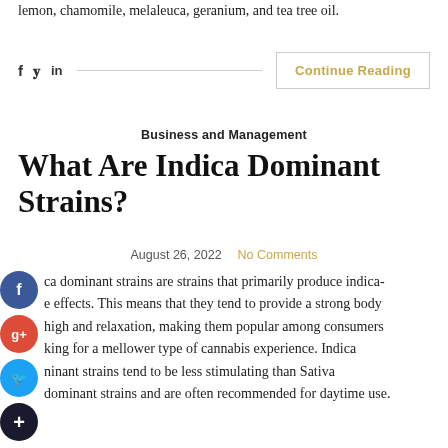lemon, chamomile, melaleuca, geranium, and tea tree oil.
f  y  in   Continue Reading
Business and Management
What Are Indica Dominant Strains?
August 26, 2022   No Comments
Indica dominant strains are strains that primarily produce indica-like effects. This means that they tend to provide a strong body high and relaxation, making them popular among consumers looking for a mellower type of cannabis experience. Indica dominant strains tend to be less stimulating than Sativa dominant strains and are often recommended for daytime use.